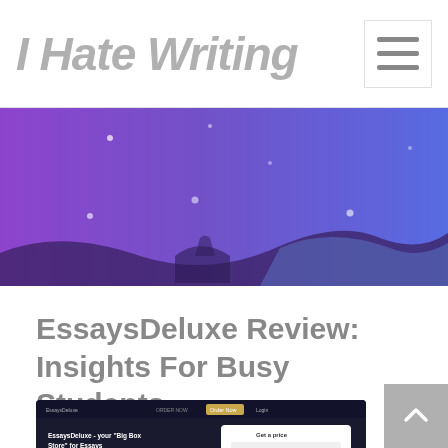I Hate Writing
[Figure (illustration): Purple to blue gradient hero banner with white sparkle dots and dark wave/mountain silhouette at the bottom]
EssaysDeluxe Review: Insights For Busy Students
[Figure (screenshot): Screenshot of EssaysDeluxe website showing dark themed homepage with 'Get a price' form and tagline 'EssaysDeluxe - your Big-Box Store for Essays']